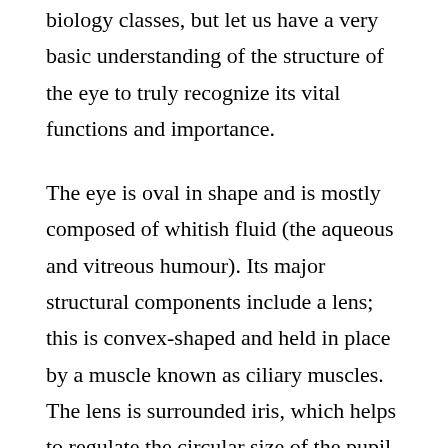biology classes, but let us have a very basic understanding of the structure of the eye to truly recognize its vital functions and importance.
The eye is oval in shape and is mostly composed of whitish fluid (the aqueous and vitreous humour). Its major structural components include a lens; this is convex-shaped and held in place by a muscle known as ciliary muscles. The lens is surrounded iris, which helps to regulate the circular size of the pupil to adjust the amount of light that enters the eye.
A conjunctiva serves as a thin protective covering over the eye's surface. There is also a retina, a light-sensitive region at the posterior end of the eye that forms the images which are then transferred to the optic nerves that are connected